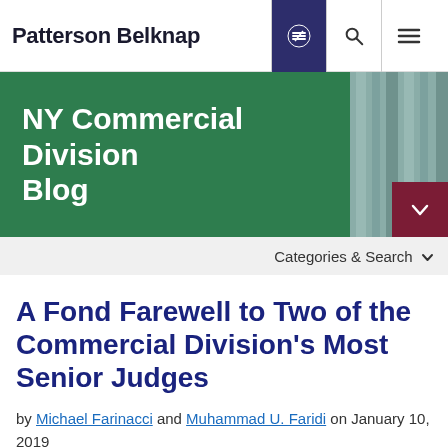Patterson Belknap
[Figure (screenshot): NY Commercial Division Blog banner with green overlay over building columns background, maroon dropdown toggle button at bottom right]
Categories & Search
A Fond Farewell to Two of the Commercial Division’s Most Senior Judges
by Michael Farinacci and Muhammad U. Faridi on January 10, 2019
SHARE THIS PAGE: